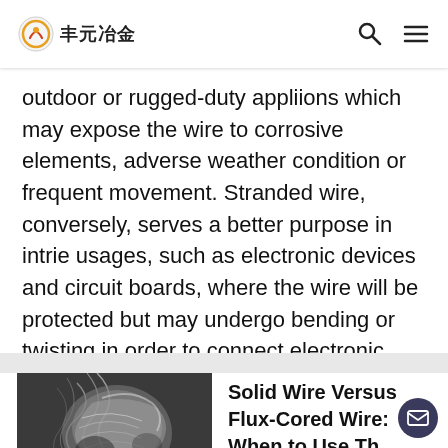丰元冶金
outdoor or rugged-duty appliions which may expose the wire to corrosive elements, adverse weather condition or frequent movement. Stranded wire, conversely, serves a better purpose in intrie usages, such as electronic devices and circuit boards, where the wire will be protected but may undergo bending or twisting in order to connect electronic …
[Figure (photo): Black and white photograph of a metallic wire or flux-cored welding wire cross-section showing stranded/shredded metal texture]
Solid Wire Versus Flux-Cored Wire: When to Use Them...